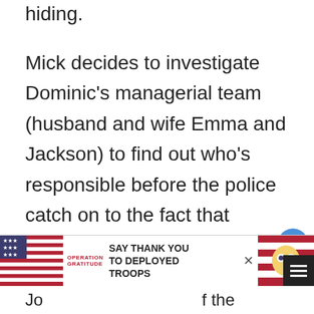hiding.
Mick decides to investigate Dominic’s managerial team (husband and wife Emma and Jackson) to find out who’s responsible before the police catch on to the fact that vampires are crawling all over this case. B-positive blood was found on the body, and when Simone is freed, Josef is happy to announce that she is B-negative. As proof, offers her up to Mick for a taste, and Beth walks in just as he’s enjoying the other woman
[Figure (other): Heart/like button (blue circle with heart icon) and share button with count of 1]
[Figure (other): Advertisement banner: Operation Gratitude - SAY THANK YOU TO DEPLOYED TROOPS, with patriotic imagery and a cartoon mascot]
Jo... f the